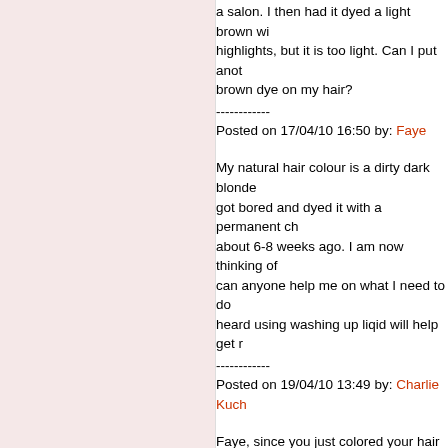a salon. I then had it dyed a light brown wi highlights, but it is too light. Can I put anot brown dye on my hair?
------------
Posted on 17/04/10 16:50 by: Faye
My natural hair colour is a dirty dark blonde got bored and dyed it with a permanent ch about 6-8 weeks ago. I am now thinking of can anyone help me on what I need to do heard using washing up liqid will help get r
------------
Posted on 19/04/10 13:49 by: Charlie Kuch
Faye, since you just colored your hair with dye, I recommend you check with a coloris she thinks your hair can withstand the reve sure the last thing you want to do is damag recommend you don't try doing this on you least a color consultation beforehand, espe some colorists will do a consultation for fre
------------
Posted on 20/04/10 21:08 by: sandra
Hi everyone, I'm mixed, half black and whi side and my hair is those crazy spiral curls have skin the same colour as Nicole Richie get her chocolate hair with a bit more dark have hazel eyes and think the red tones w the green in my eyes. But my issue is that